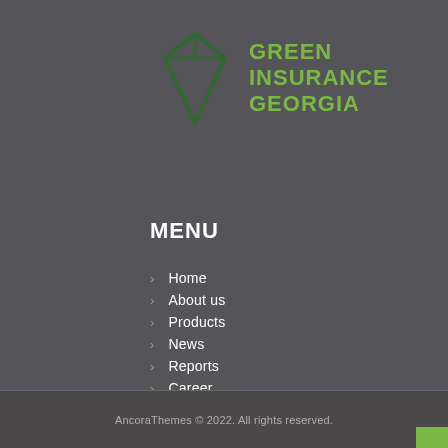[Figure (logo): Green Insurance Georgia logo — a dark green diamond/gem shape icon with leaf motif, next to bold green text reading GREEN INSURANCE GEORGIA]
MENU
Home
About us
Products
News
Reports
Career
Claim review procedure
Contacts
AncoraThemes © 2022. All rights reserved.